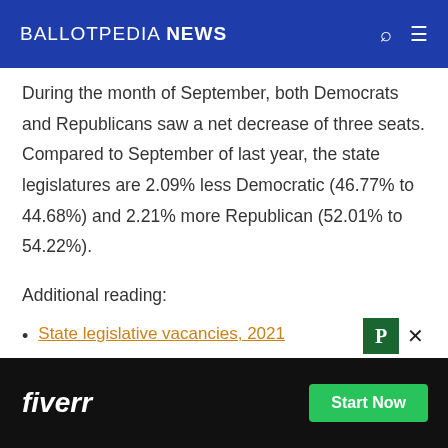BALLOTPEDIA NEWS
During the month of September, both Democrats and Republicans saw a net decrease of three seats. Compared to September of last year, the state legislatures are 2.09% less Democratic (46.77% to 44.68%) and 2.21% more Republican (52.01% to 54.22%).
Additional reading:
State legislative vacancies, 2021
State senators
[Figure (screenshot): Fiverr advertisement banner with 'fiverr' logo in white italic text on black background and a green 'Start Now' button]